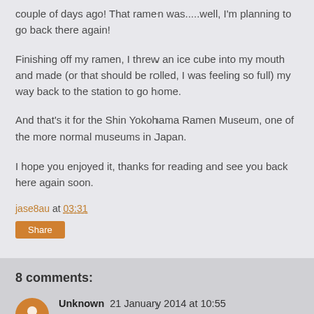couple of days ago!  That ramen was.....well, I'm planning to go back there again!
Finishing off my ramen, I threw an ice cube into my mouth and made (or that should be rolled, I was feeling so full) my way back to the station to go home.
And that's it for the Shin Yokohama Ramen Museum, one of the more normal museums in Japan.
I hope you enjoyed it, thanks for reading and see you back here again soon.
jase8au at 03:31
Share
8 comments:
Unknown  21 January 2014 at 10:55
I can't believe the line up! I can understand why Dan left. At the first look of 7 yen a bowl...